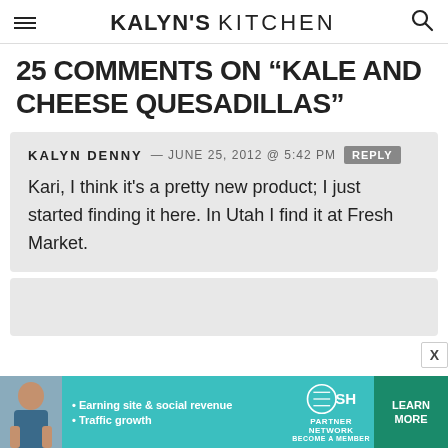KALYN'S KITCHEN
25 COMMENTS ON “KALE AND CHEESE QUESADILLAS”
KALYN DENNY — JUNE 25, 2012 @ 5:42 PM [REPLY]
Kari, I think it's a pretty new product; I just started finding it here. In Utah I find it at Fresh Market.
[Figure (infographic): SHE Media Partner Network advertisement banner with woman photo, bullet points about earning site & social revenue and traffic growth, SHE logo, and Learn More button]